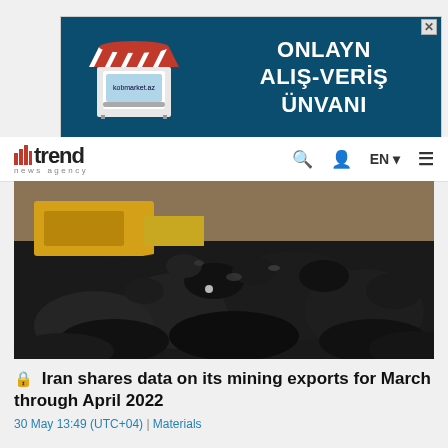[Figure (infographic): Advertisement banner for kobmarket.az - dark teal background with market stall/awning graphic on left and white bold text reading 'ONLAYN ALIŞ-VERİŞ ÜNVANI' on right. Red and white striped awning illustration with laptop screen showing kobmarket.az URL.]
trend news agency  |  EN  ☰
[Figure (photo): Close-up photograph of a large pile of black coal chunks/lumps, with yellow mining equipment visible in the blurred background.]
Iran shares data on its mining exports for March through April 2022
30 May 13:49 (UTC+04) | Materials